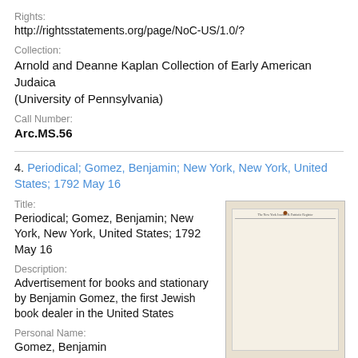Rights:
http://rightsstatements.org/page/NoC-US/1.0/?
Collection:
Arnold and Deanne Kaplan Collection of Early American Judaica (University of Pennsylvania)
Call Number:
Arc.MS.56
4. Periodical; Gomez, Benjamin; New York, New York, United States; 1792 May 16
Title:
Periodical; Gomez, Benjamin; New York, New York, United States; 1792 May 16
Description:
Advertisement for books and stationary by Benjamin Gomez, the first Jewish book dealer in the United States
[Figure (photo): Thumbnail image of a historical newspaper page, appears to be the New York Journal or Patriotic Register, showing multiple columns of text]
Personal Name:
Gomez, Benjamin
Date: